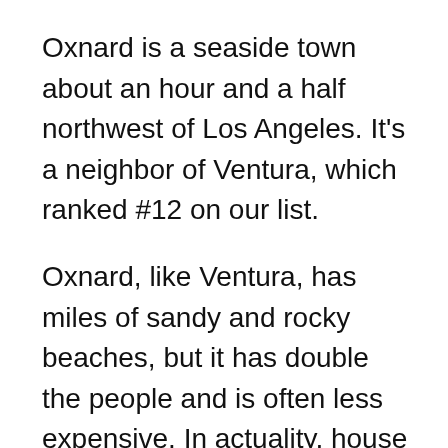Oxnard is a seaside town about an hour and a half northwest of Los Angeles. It's a neighbor of Ventura, which ranked #12 on our list.
Oxnard, like Ventura, has miles of sandy and rocky beaches, but it has double the people and is often less expensive. In actuality, house costs in Oxnard are about $100,000 less than Ventura on average.
The city of Oxnard is a wonderful bargain, especially considering all it has to offer. The beach is perfect for swimming, fishing, or sunbathing. Residents may also participate in